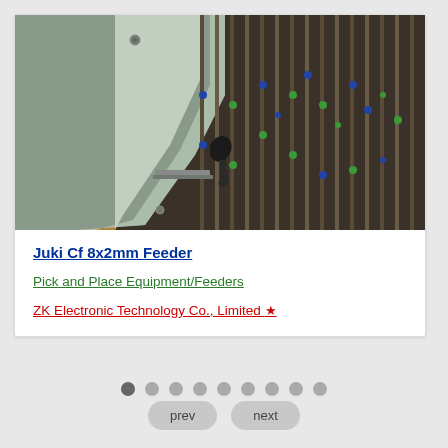[Figure (photo): Close-up photo of Juki Cf 8x2mm Feeder equipment showing multiple feeders with metallic guide plates and component tapes arranged in parallel rows]
Juki Cf 8x2mm Feeder
Pick and Place Equipment/Feeders
ZK Electronic Technology Co., Limited ★